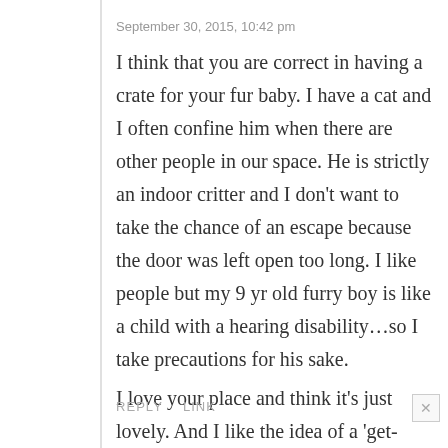September 30, 2015, 10:42 pm
I think that you are correct in having a crate for your fur baby. I have a cat and I often confine him when there are other people in our space. He is strictly an indoor critter and I don’t want to take the chance of an escape because the door was left open too long. I like people but my 9 yr old furry boy is like a child with a hearing disability…so I take precautions for his sake.
I love your place and think it’s just lovely. And I like the idea of a ‘get-away’ place!
REPLY    LINK